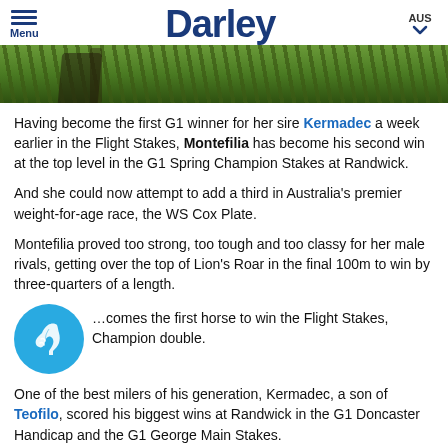Darley | AUS | Menu
[Figure (photo): Partial photo of a horse running through green grass, cropped at top of page]
Having become the first G1 winner for her sire Kermadec a week earlier in the Flight Stakes, Montefilia has become his second win at the top level in the G1 Spring Champion Stakes at Randwick.
And she could now attempt to add a third in Australia's premier weight-for-age race, the WS Cox Plate.
Montefilia proved too strong, too tough and too classy for her male rivals, getting over the top of Lion's Roar in the final 100m to win by three-quarters of a length.
...comes the first horse to win the Flight Stakes, Champion double.
One of the best milers of his generation, Kermadec, a son of Teofilo, scored his biggest wins at Randwick in the G1 Doncaster Handicap and the G1 George Main Stakes.
Montefilia, a member of his first crop, is the fourth foal of Shirocco mare Bana Wu and was initially sold at auction as a weanling for $62,000.